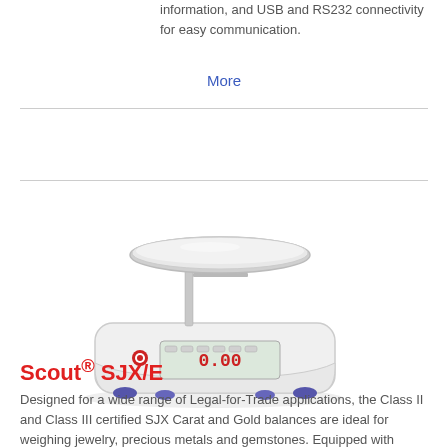information, and USB and RS232 connectivity for easy communication.
More
[Figure (photo): OHAUS Scout SJX/E precision balance scale with circular weighing pan on top, LCD display showing 0.00, and purple rubber feet]
Scout® SJX/E
Designed for a wide range of Legal-for-Trade applications, the Class II and Class III certified SJX Carat and Gold balances are ideal for weighing jewelry, precious metals and gemstones. Equipped with superior overload